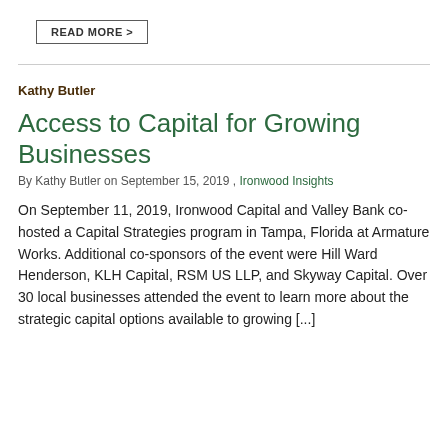READ MORE >
Kathy Butler
Access to Capital for Growing Businesses
By Kathy Butler on September 15, 2019 , Ironwood Insights
On September 11, 2019, Ironwood Capital and Valley Bank co-hosted a Capital Strategies program in Tampa, Florida at Armature Works.  Additional co-sponsors of the event were Hill Ward Henderson, KLH Capital, RSM US LLP, and Skyway Capital. Over 30 local businesses attended the event to learn more about the strategic capital options available to growing [...]